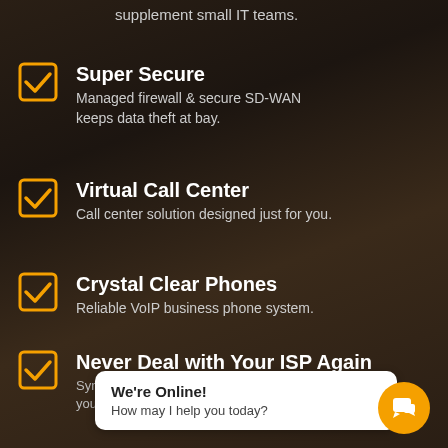supplement small IT teams.
Super Secure
Managed firewall & secure SD-WAN keeps data theft at bay.
Virtual Call Center
Call center solution designed just for you.
Crystal Clear Phones
Reliable VoIP business phone system.
Never Deal with Your ISP Again
SymplyFi... so you can d...ails
We're Online!
How may I help you today?